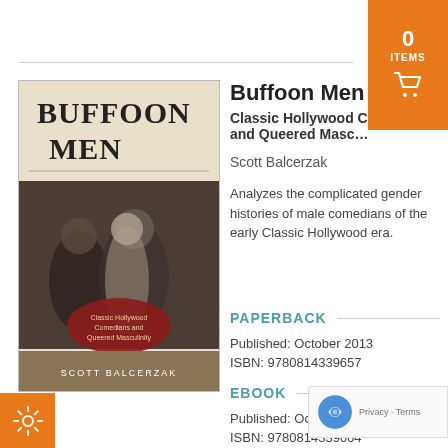[Figure (illustration): Orange shopping cart banner in top-right corner showing 0 ITEMS with a cart icon]
[Figure (photo): Book cover of 'Buffoon Men' by Scott Balcerzak showing black-and-white photo of comedians with beige top section]
Buffoon Men
Classic Hollywood Comedians and Queered Masculinity
Scott Balcerzak
Analyzes the complicated gender histories of male comedians of the early Classic Hollywood era.
PAPERBACK
Published: October 2013
ISBN: 9780814339657
EBOOK
Published: October 2013
ISBN: 9780814339664